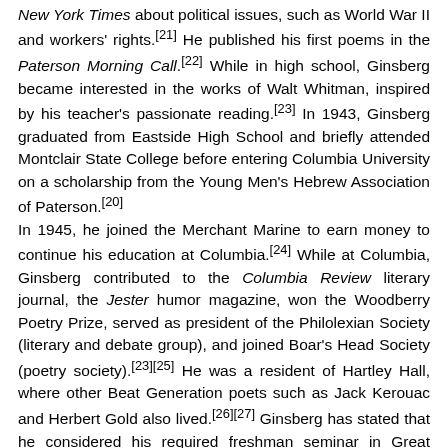New York Times about political issues, such as World War II and workers' rights.[21] He published his first poems in the Paterson Morning Call.[22] While in high school, Ginsberg became interested in the works of Walt Whitman, inspired by his teacher's passionate reading.[23] In 1943, Ginsberg graduated from Eastside High School and briefly attended Montclair State College before entering Columbia University on a scholarship from the Young Men's Hebrew Association of Paterson.[20] In 1945, he joined the Merchant Marine to earn money to continue his education at Columbia.[24] While at Columbia, Ginsberg contributed to the Columbia Review literary journal, the Jester humor magazine, won the Woodberry Poetry Prize, served as president of the Philolexian Society (literary and debate group), and joined Boar's Head Society (poetry society).[23][25] He was a resident of Hartley Hall, where other Beat Generation poets such as Jack Kerouac and Herbert Gold also lived.[26][27] Ginsberg has stated that he considered his required freshman seminar in Great Books, taught by Lionel Trilling, to be his favorite Columbia course.[28]